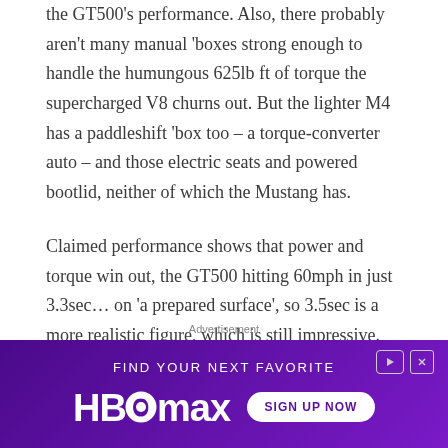the GT500's performance. Also, there probably aren't many manual 'boxes strong enough to handle the humungous 625lb ft of torque the supercharged V8 churns out. But the lighter M4 has a paddleshift 'box too – a torque-converter auto – and those electric seats and powered bootlid, neither of which the Mustang has.
Claimed performance shows that power and torque win out, the GT500 hitting 60mph in just 3.3sec… on 'a prepared surface', so 3.5sec is a more realistic figure, which is still impressive. BMW claims 3.9sec
[Figure (other): HBO Max advertisement banner with purple gradient background. Text reads 'FIND YOUR NEXT FAVORITE' with HBO Max logo and 'SIGN UP NOW' button in white.]